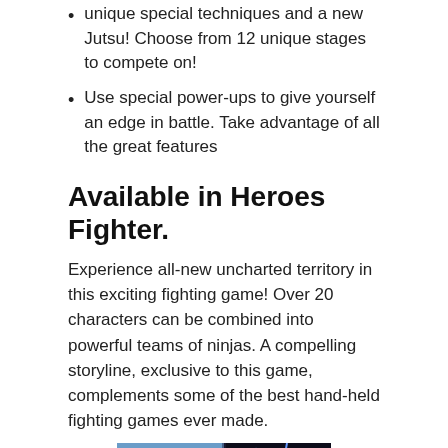unique special techniques and a new Jutsu! Choose from 12 unique stages to compete on!
Use special power-ups to give yourself an edge in battle. Take advantage of all the great features
Available in Heroes Fighter.
Experience all-new uncharted territory in this exciting fighting game! Over 20 characters can be combined into powerful teams of ninjas. A compelling storyline, exclusive to this game, complements some of the best hand-held fighting games ever made.
[Figure (screenshot): Game screenshot showing two panels: left panel with a ninja character and right panel with lightning effects. Text overlay reads 'SHARINGAN & RINNEGAN STORM'S NINJAS FIGHT MADARA'S LAST WAR OF NEW KONOHA']